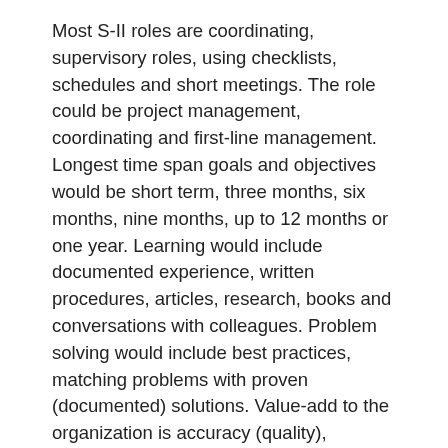Most S-II roles are coordinating, supervisory roles, using checklists, schedules and short meetings. The role could be project management, coordinating and first-line management. Longest time span goals and objectives would be short term, three months, six months, nine months, up to 12 months or one year. Learning would include documented experience, written procedures, articles, research, books and conversations with colleagues. Problem solving would include best practices, matching problems with proven (documented) solutions. Value-add to the organization is accuracy (quality), completeness and timeliness. It is the role at S-II to make sure production gets done, meets spec, totally finished and on deadline.
Managerial roles at S-II are accountable for the output of the team.
How does it feel to put a checklist together, and then hour by